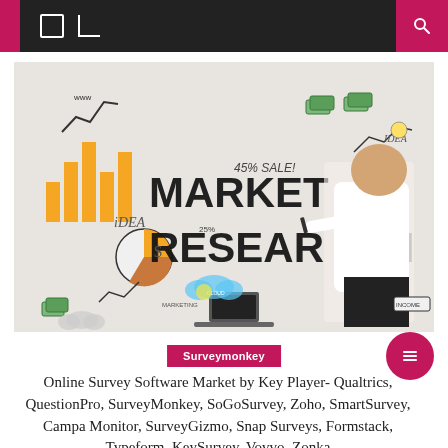[Figure (photo): Man in white shirt writing 'MARKET RESEARCH' on a white brick wall covered with marketing and business doodles including charts, graphs, pie charts, money, lightbulb, and various business icons.]
Surveymonkey
Online Survey Software Market by Key Player- Qualtrics, QuestionPro, SurveyMonkey, SoGoSurvey, Zoho, SmartSurvey, Campaign Monitor, SurveyGizmo, Snap Surveys, Formstack, Typeform, KeySurvey, Vovvo, Zonka